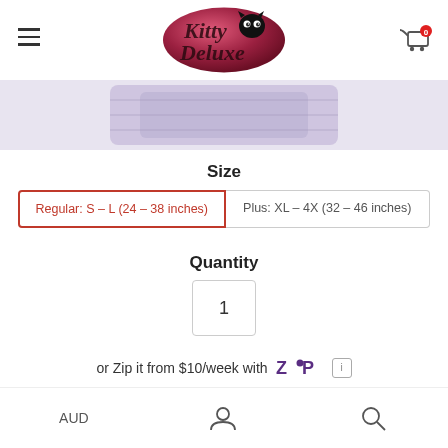[Figure (logo): Kitty Deluxe brand logo: pink/red oval with black cat silhouette and cursive text]
[Figure (photo): Product image strip showing purple/lavender cat harness product]
Size
Regular: S – L (24 – 38 inches) [selected]
Plus: XL – 4X (32 – 46 inches)
Quantity
1
or Zip it from $10/week with [ZIP logo] ℹ
AUD  [user icon]  [search icon]